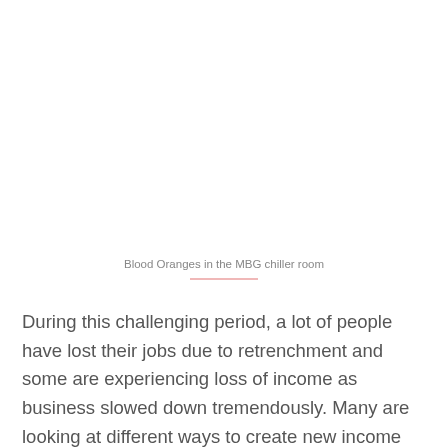Blood Oranges in the MBG chiller room
During this challenging period, a lot of people have lost their jobs due to retrenchment and some are experiencing loss of income as business slowed down tremendously. Many are looking at different ways to create new income stream to survive their daily lives.